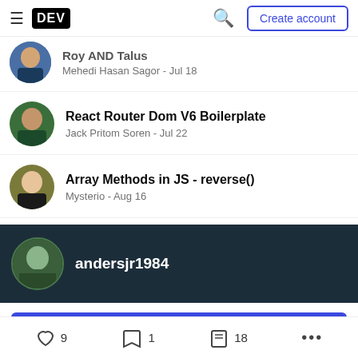DEV — Create account
Roy AND Talus — Mehedi Hasan Sagor - Jul 18
React Router Dom V6 Boilerplate
Jack Pritom Soren - Jul 22
Array Methods in JS - reverse()
Mysterio - Aug 16
andersjr1984
Follow
9  1  18  ...